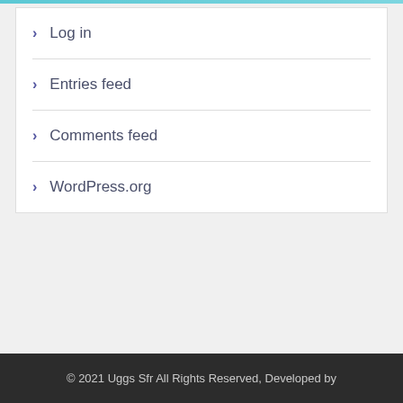Log in
Entries feed
Comments feed
WordPress.org
© 2021 Uggs Sfr All Rights Reserved, Developed by